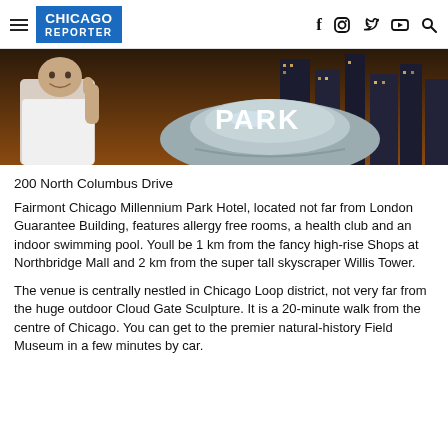CHICAGO REPORTER
[Figure (photo): Hero image showing a person giving thumbs up next to the Cloud Gate sculpture in Chicago with the word PARK visible. Nighttime city skyline in background.]
200 North Columbus Drive
Fairmont Chicago Millennium Park Hotel, located not far from London Guarantee Building, features allergy free rooms, a health club and an indoor swimming pool. Youll be 1 km from the fancy high-rise Shops at Northbridge Mall and 2 km from the super tall skyscraper Willis Tower.
The venue is centrally nestled in Chicago Loop district, not very far from the huge outdoor Cloud Gate Sculpture. It is a 20-minute walk from the centre of Chicago. You can get to the premier natural-history Field Museum in a few minutes by car.